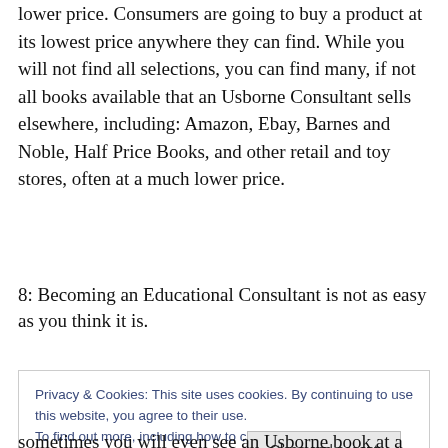lower price. Consumers are going to buy a product at its lowest price anywhere they can find. While you will not find all selections, you can find many, if not all books available that an Usborne Consultant sells elsewhere, including: Amazon, Ebay, Barnes and Noble, Half Price Books, and other retail and toy stores, often at a much lower price.
8: Becoming an Educational Consultant is not as easy as you think it is.
Privacy & Cookies: This site uses cookies. By continuing to use this website, you agree to their use.
To find out more, including how to control cookies, see here: Cookie Policy
sometimes you will even see an Usborne book at a